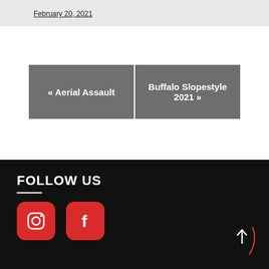February 20, 2021
« Aerial Assault
Buffalo Slopestyle 2021 »
FOLLOW US
[Figure (illustration): Instagram icon - white camera outline on red rounded square button]
[Figure (illustration): Facebook icon - white f on red rounded square button]
[Figure (illustration): Scroll to top arrow button - dark circle with upward arrow]